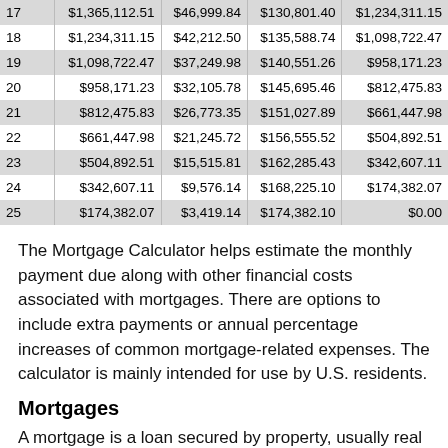| 17 | $1,365,112.51 | $46,999.84 | $130,801.40 | $1,234,311.15 |
| 18 | $1,234,311.15 | $42,212.50 | $135,588.74 | $1,098,722.47 |
| 19 | $1,098,722.47 | $37,249.98 | $140,551.26 | $958,171.23 |
| 20 | $958,171.23 | $32,105.78 | $145,695.46 | $812,475.83 |
| 21 | $812,475.83 | $26,773.35 | $151,027.89 | $661,447.98 |
| 22 | $661,447.98 | $21,245.72 | $156,555.52 | $504,892.51 |
| 23 | $504,892.51 | $15,515.81 | $162,285.43 | $342,607.11 |
| 24 | $342,607.11 | $9,576.14 | $168,225.10 | $174,382.07 |
| 25 | $174,382.07 | $3,419.14 | $174,382.10 | $0.00 |
The Mortgage Calculator helps estimate the monthly payment due along with other financial costs associated with mortgages. There are options to include extra payments or annual percentage increases of common mortgage-related expenses. The calculator is mainly intended for use by U.S. residents.
Mortgages
A mortgage is a loan secured by property, usually real estate property. Lenders define it as the money borrowed to